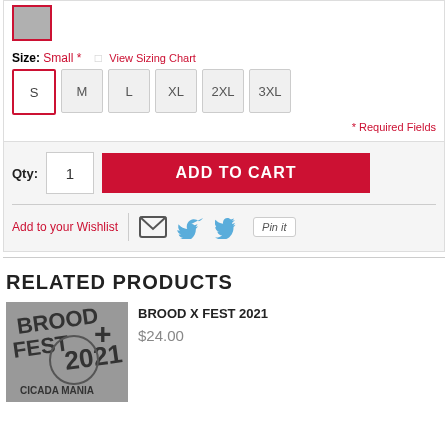[Figure (other): Gray color swatch box with red border indicating selected color]
Size: Small * □ View Sizing Chart
S (selected), M, L, XL, 2XL, 3XL size buttons
* Required Fields
Qty: 1 ADD TO CART
Add to your Wishlist
RELATED PRODUCTS
[Figure (photo): Brood X Fest 2021 Cicada Mania product thumbnail - gray background with stylized text]
BROOD X FEST 2021
$24.00